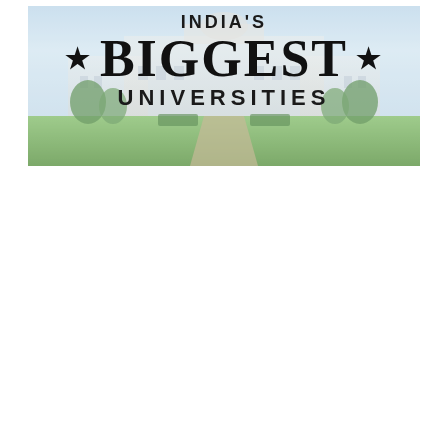[Figure (photo): Banner image for 'India's Biggest Universities' featuring a large university building in the background with manicured gardens and trees, overlaid with bold text reading 'INDIA'S BIGGEST UNIVERSITIES' with star decorations.]